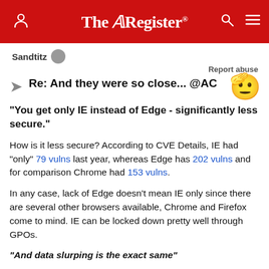The Register
Sandtitz
Report abuse
Re: And they were so close... @AC
"You get only IE instead of Edge - significantly less secure."
How is it less secure? According to CVE Details, IE had "only" 79 vulns last year, whereas Edge has 202 vulns and for comparison Chrome had 153 vulns.
In any case, lack of Edge doesn't mean IE only since there are several other browsers available, Chrome and Firefox come to mind. IE can be locked down pretty well through GPOs.
"And data slurping is the exact same"